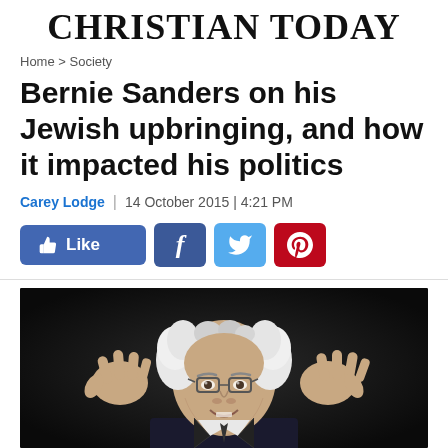CHRISTIAN TODAY
Home > Society
Bernie Sanders on his Jewish upbringing, and how it impacted his politics
Carey Lodge | 14 October 2015 | 4:21 PM
[Figure (screenshot): Social sharing buttons: Like (Facebook), Facebook, Twitter, Pinterest]
[Figure (photo): Photo of Bernie Sanders gesturing with both hands raised, white hair, wearing glasses and a dark suit, against a dark background]